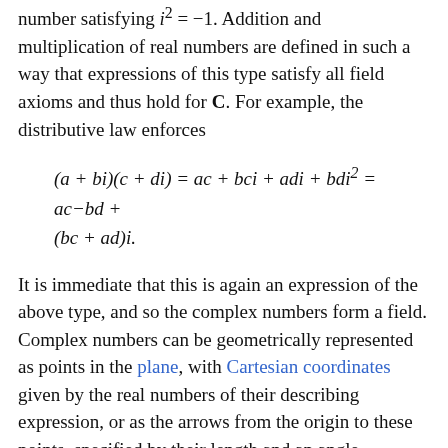number satisfying i² = −1. Addition and multiplication of real numbers are defined in such a way that expressions of this type satisfy all field axioms and thus hold for C. For example, the distributive law enforces
It is immediate that this is again an expression of the above type, and so the complex numbers form a field. Complex numbers can be geometrically represented as points in the plane, with Cartesian coordinates given by the real numbers of their describing expression, or as the arrows from the origin to these points, specified by their length and an angle enclosed with some distinct direction. Addition then corresponds to combining the arrows to the intuitive